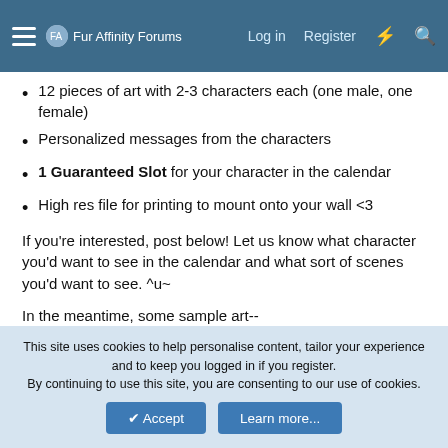Fur Affinity Forums | Log in | Register
12 pieces of art with 2-3 characters each (one male, one female)
Personalized messages from the characters
1 Guaranteed Slot for your character in the calendar
High res file for printing to mount onto your wall <3
If you're interested, post below! Let us know what character you'd want to see in the calendar and what sort of scenes you'd want to see. ^u~
In the meantime, some sample art--
[Figure (illustration): Sample artwork showing 'XENO' text logo and a cartoon character illustration of a humanoid figure]
This site uses cookies to help personalise content, tailor your experience and to keep you logged in if you register.
By continuing to use this site, you are consenting to our use of cookies.